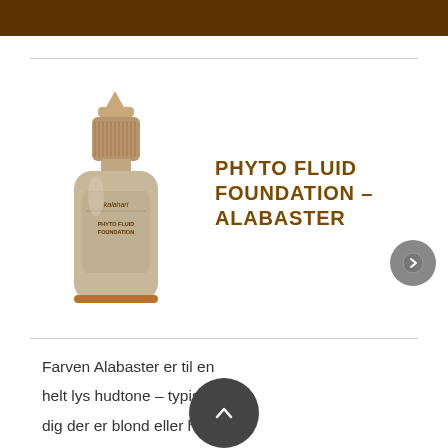[Figure (photo): Kalahari Phyto Fluid Foundation bottle in alabaster/beige color with dropper top and copper ring accent at bottom]
PHYTO FLUID FOUNDATION – ALABASTER
Farven Alabaster er til en helt lys hudtone – typisk til dig der er blond eller har rødt hår. Phyto... produkt indhold | 30 ml